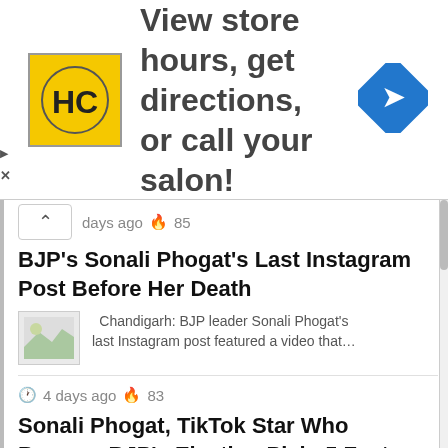[Figure (advertisement): HC salon advertisement banner with yellow/black logo, text 'View store hours, get directions, or call your salon!' and a blue direction arrow icon]
days ago 🔥 85
BJP's Sonali Phogat's Last Instagram Post Before Her Death
Chandigarh: BJP leader Sonali Phogat's last Instagram post featured a video that…
4 days ago 🔥 83
Sonali Phogat, TikTok Star Who Became BJP's Election Pick: 5 Facts
Chandigarh: BJP leader Sonali Phogat died of a heart attack in Goa…
4 days ago 🔥 83
Haryana BJP's Sonali Phogat, 42, Dies Of